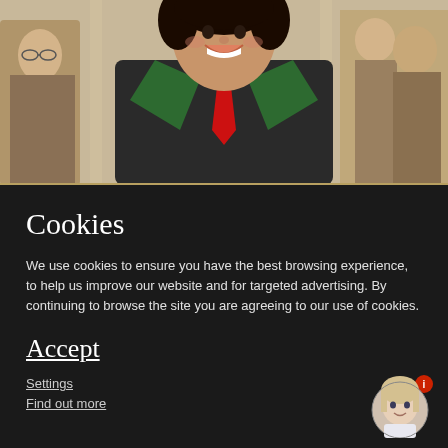[Figure (photo): A smiling young man in a black graduation gown with green hood and red tie, standing in a formal hall surrounded by other people in formal attire.]
Cookies
We use cookies to ensure you have the best browsing experience, to help us improve our website and for targeted advertising. By continuing to browse the site you are agreeing to our use of cookies.
Accept
Settings
Find out more
[Figure (photo): Small circular avatar photo of a young girl with light hair, with a red info badge in the top-right corner of the avatar.]